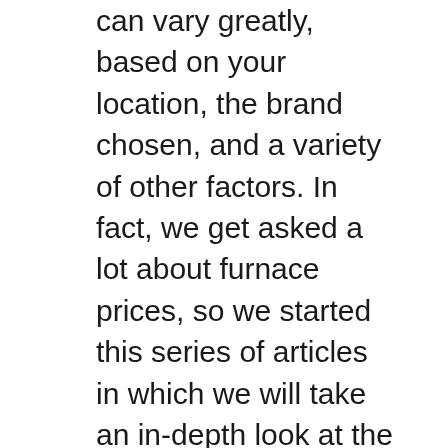can vary greatly, based on your location, the brand chosen, and a variety of other factors. In fact, we get asked a lot about furnace prices, so we started this series of articles in which we will take an in-depth look at the factors that affect the cost of purchasing a new furnace.
Weight and dimensions: the 0803BNB is 17 1/2 inches wide by 28 7/8 inches by 34 1/2 inches and 122 pounds, while other units in this line range from 144 to 146 pounds. AMVC96 two-stage, variable-speed gas furnace These two-stage models include stainless-steel heat exchangers. This product line comes with silicon nitride igniters and